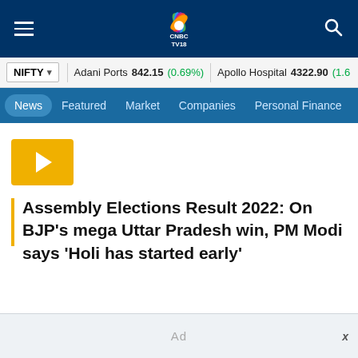CNBC TV18 - Navigation header with hamburger menu, CNBC TV18 logo, and search icon
NIFTY | Adani Ports 842.15 (0.69%) | Apollo Hospital 4322.90 (1.6...)
News | Featured | Market | Companies | Personal Finance
[Figure (other): Yellow/orange play button thumbnail placeholder]
Assembly Elections Result 2022: On BJP’s mega Uttar Pradesh win, PM Modi says ‘Holi has started early’
Ad